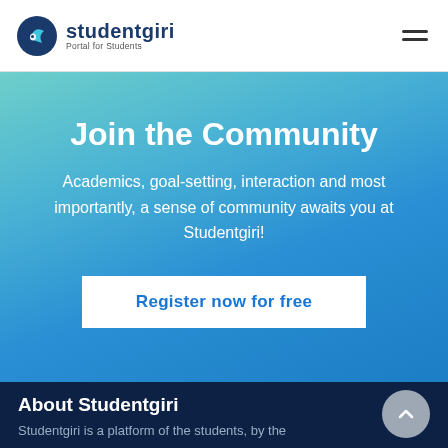[Figure (logo): Studentgiri logo with a blue flame/fish icon and text 'studentgiri Portal for Students']
Join the Community
Academics, goal-setting, interaction and most importantly, a sense of community awaits you at Studentgiri!
Register now for free
About Studentgiri
Studentgiri is a platform of the students, by the